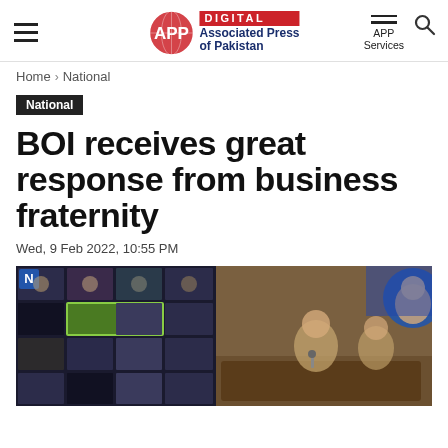DIGITAL Associated Press of Pakistan — APP Services
Home › National
National
BOI receives great response from business fraternity
Wed, 9 Feb 2022, 10:55 PM
[Figure (photo): Composite image: left half shows a video conference grid with multiple participants on screen; right half shows people seated at a conference table in a formal meeting room.]